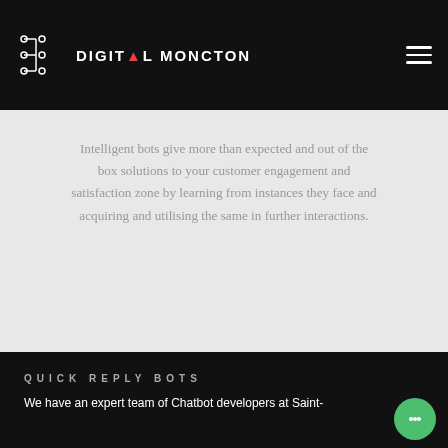DIGITAL MONCTON
Intelligent bots give more than expected and out of the box solutions to your customer engagement and satisfaction zone by learning from instances they face and acquiring and utilising the same in further interactions.
QUICK REPLY BOTS
We have an expert team of Chatbot developers at Saint-